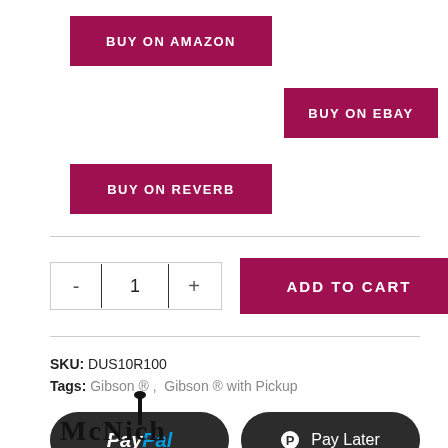[Figure (screenshot): E-commerce product page section showing purchase buttons (Buy on Amazon, Buy on eBay, Buy on Reverb), quantity selector, Add to Cart button, SKU and Tags info, PayPal and Pay Later buttons, and a partial store logo at the bottom.]
BUY ON AMAZON
BUY ON EBAY
BUY ON REVERB
1
ADD TO CART
SKU: DUS10R100
Tags: Gibson ®, Gibson ® with Pickup
PayPal
Pay Later